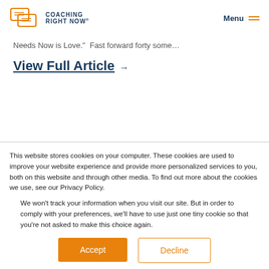Coaching Right Now — Menu
Needs Now is Love."  Fast forward forty some…
View Full Article →
This website stores cookies on your computer. These cookies are used to improve your website experience and provide more personalized services to you, both on this website and through other media. To find out more about the cookies we use, see our Privacy Policy.
We won't track your information when you visit our site. But in order to comply with your preferences, we'll have to use just one tiny cookie so that you're not asked to make this choice again.
Accept  Decline